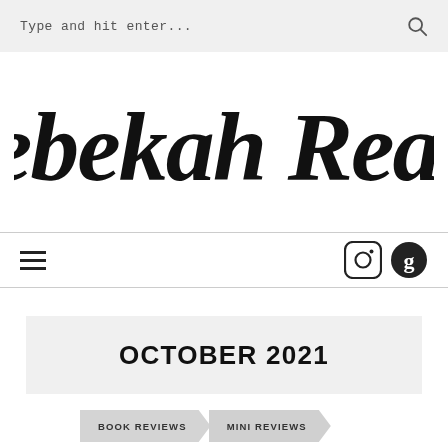Type and hit enter...
Rebekah Reads
[Figure (other): Hamburger menu icon and social media icons (Instagram, Goodreads) in navigation bar]
OCTOBER 2021
BOOK REVIEWS
MINI REVIEWS